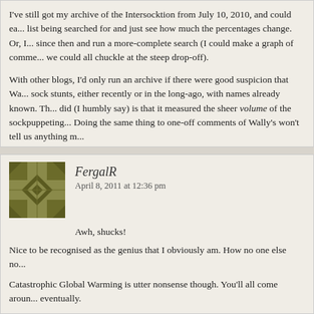I've still got my archive of the Intersocktion from July 10, 2010, and could ea... list being searched for and just see how much the percentages change. Or, I... since then and run a more-complete search (I could make a graph of comme... we could all chuckle at the steep drop-off).
With other blogs, I'd only run an archive if there were good suspicion that Wa... sock stunts, either recently or in the long-ago, with names already known. Th... did (I humbly say) is that it measured the sheer volume of the sockpuppeting... Doing the same thing to one-off comments of Wally's won't tell us anything m...
FergalR
April 8, 2011 at 12:36 pm
Awh, shucks!
Nice to be recognised as the genius that I obviously am. How no one else no...
Catastrophic Global Warming is utter nonsense though. You'll all come aroun... eventually.
It's awful that you had to endure such uncouth treatment from Mooney. But it... read!